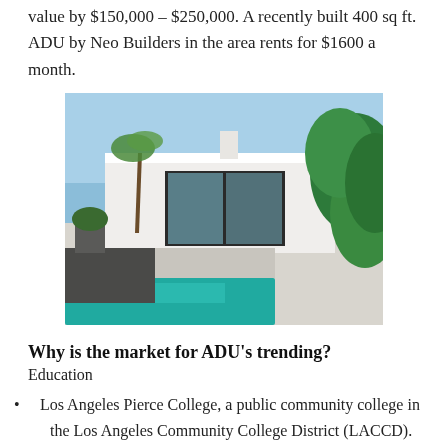value by $150,000 – $250,000. A recently built 400 sq ft. ADU by Neo Builders in the area rents for $1600 a month.
[Figure (photo): Modern single-story house with flat roof, floor-to-ceiling glass doors, palm trees, lush green foliage on the right, and a turquoise swimming pool in the foreground, under a blue sky.]
Why is the market for ADU's trending?
Education
Los Angeles Pierce College, a public community college in the Los Angeles Community College District (LACCD). Which 22,000 students attend per semester. With no dorms or on